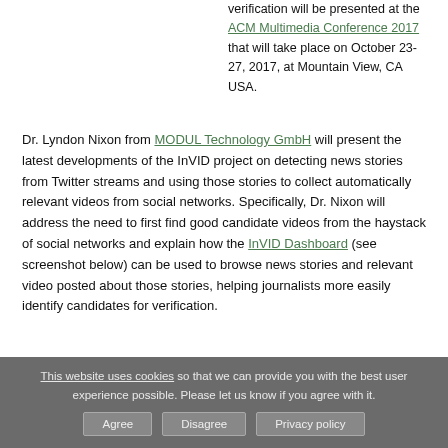verification will be presented at the ACM Multimedia Conference 2017 that will take place on October 23-27, 2017, at Mountain View, CA USA.
Dr. Lyndon Nixon from MODUL Technology GmbH will present the latest developments of the InVID project on detecting news stories from Twitter streams and using those stories to collect automatically relevant videos from social networks. Specifically, Dr. Nixon will address the need to first find good candidate videos from the haystack of social networks and explain how the InVID Dashboard (see screenshot below) can be used to browse news stories and relevant video posted about those stories, helping journalists more easily identify candidates for verification.
This website uses cookies so that we can provide you with the best user experience possible. Please let us know if you agree with it.